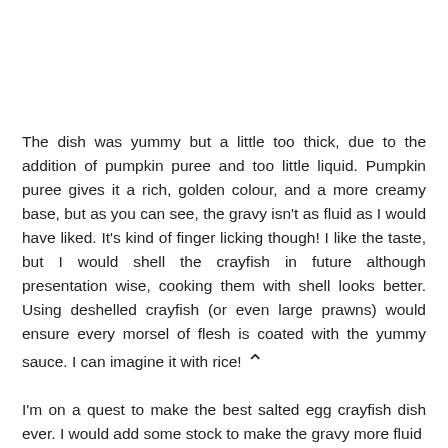The dish was yummy but a little too thick, due to the addition of pumpkin puree and too little liquid. Pumpkin puree gives it a rich, golden colour, and a more creamy base, but as you can see, the gravy isn't as fluid as I would have liked. It's kind of finger licking though! I like the taste, but I would shell the crayfish in future although presentation wise, cooking them with shell looks better. Using deshelled crayfish (or even large prawns) would ensure every morsel of flesh is coated with the yummy sauce. I can imagine it with rice!
I'm on a quest to make the best salted egg crayfish dish ever. I would add some stock to make the gravy more fluid